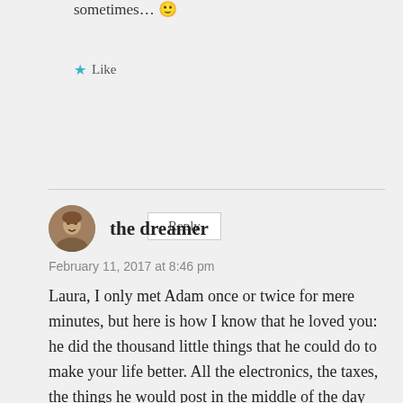sometimes… 🙂
★ Like
Reply
the dreamer
February 11, 2017 at 8:46 pm
Laura, I only met Adam once or twice for mere minutes, but here is how I know that he loved you: he did the thousand little things that he could do to make your life better. All the electronics, the taxes, the things he would post in the middle of the day that he knew would make you smile. I know that he loved you. I